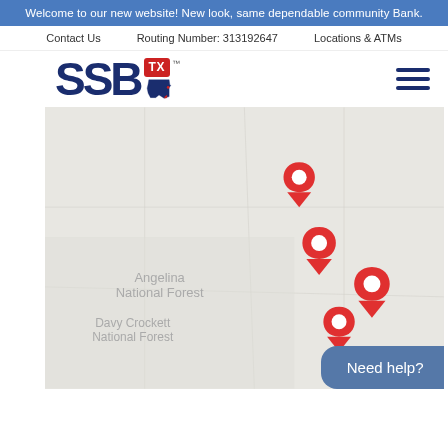Welcome to our new website! New look, same dependable community Bank.
Contact Us    Routing Number: 313192647    Locations & ATMs
[Figure (logo): SSB TX bank logo with red Texas state shape and TM mark]
[Figure (map): Map showing Angelina National Forest and Davy Crockett National Forest area in Texas with 4 red location pins marking bank branch locations]
Need help?